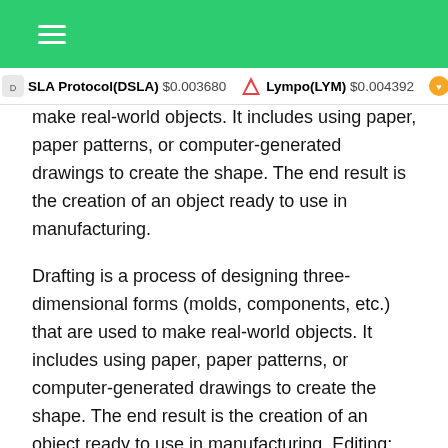SLA Protocol(DSLA) $0.003680   Lympo(LYM) $0.004392   Hea
make real-world objects. It includes using paper, paper patterns, or computer-generated drawings to create the shape. The end result is the creation of an object ready to use in manufacturing.
Drafting is a process of designing three-dimensional forms (molds, components, etc.) that are used to make real-world objects. It includes using paper, paper patterns, or computer-generated drawings to create the shape. The end result is the creation of an object ready to use in manufacturing. Editing:
Editing is a tool for creating, modifying, or repositioning existing objects. Features in AutoCAD include milling, contour tracing, object snapping, tool path generation, and path locking. Edits are stored in the computer during the form of editing, but are